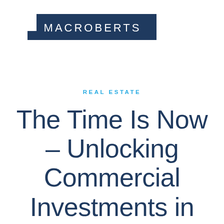[Figure (logo): MacRoberts logo — white text on dark navy blue background rectangle]
REAL ESTATE
The Time Is Now – Unlocking Commercial Investments in Scottish Forestry